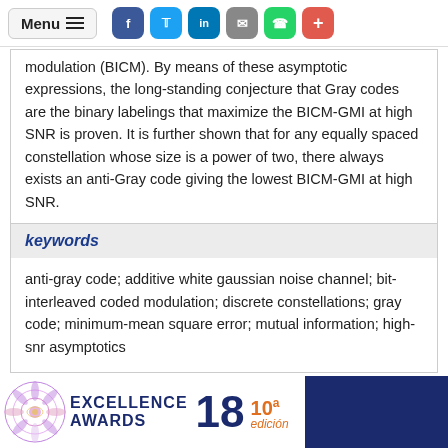Menu | Social share buttons (Facebook, Twitter, LinkedIn, Email, WhatsApp, +)
modulation (BICM). By means of these asymptotic expressions, the long-standing conjecture that Gray codes are the binary labelings that maximize the BICM-GMI at high SNR is proven. It is further shown that for any equally spaced constellation whose size is a power of two, there always exists an anti-Gray code giving the lowest BICM-GMI at high SNR.
keywords
anti-gray code; additive white gaussian noise channel; bit-interleaved coded modulation; discrete constellations; gray code; minimum-mean square error; mutual information; high-snr asymptotics
[Figure (illustration): Excellence Awards 18 - 10a edicion banner with mandala decoration on dark blue background]